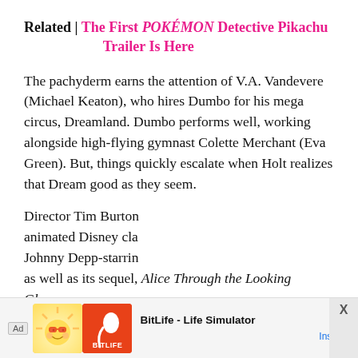Related | The First POKÉMON Detective Pikachu Trailer Is Here
The pachyderm earns the attention of V.A. Vandevere (Michael Keaton), who hires Dumbo for his mega circus, Dreamland. Dumbo performs well, working alongside high-flying gymnast Colette Merchant (Eva Green). But, things quickly escalate when Holt realizes that Dream good as they seem.
Director Tim Burton animated Disney cla Johnny Depp-starrin as well as its sequel, Alice Through the Looking Glass
[Figure (advertisement): Ad banner for BitLife - Life Simulator app with Install button]